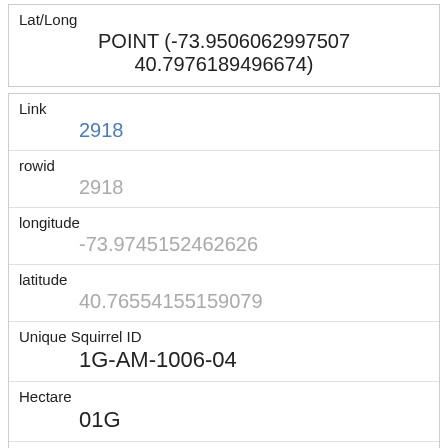| Field | Value |
| --- | --- |
| Lat/Long | POINT (-73.9506062997507 40.7976189496674) |
| Link | 2918 |
| rowid | 2918 |
| longitude | -73.9745152462626 |
| latitude | 40.76554155159079 |
| Unique Squirrel ID | 1G-AM-1006-04 |
| Hectare | 01G |
| Shift | AM |
| Date | 10062018 |
| Hectare Squirrel Number | 4 |